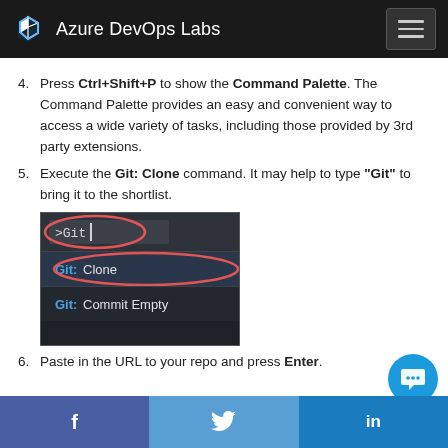Azure DevOps Labs
4. Press Ctrl+Shift+P to show the Command Palette. The Command Palette provides an easy and convenient way to access a wide variety of tasks, including those provided by 3rd party extensions.
5. Execute the Git: Clone command. It may help to type "Git" to bring it to the shortlist.
[Figure (screenshot): VS Code Command Palette screenshot showing '>Git' typed in the search box with 'Git: Clone' highlighted and 'Git: Commit Empty' listed below. Both the search box and Git: Clone option are circled in red/pink.]
6. Paste in the URL to your repo and press Enter.
f  Twitter  in